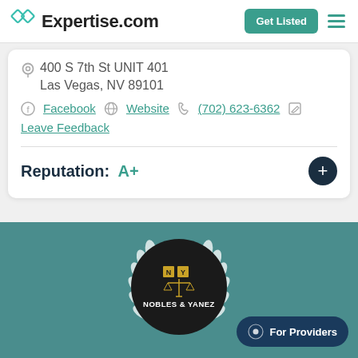Expertise.com — Get Listed
400 S 7th St UNIT 401
Las Vegas, NV 89101
Facebook | Website | (702) 623-6362 | Leave Feedback
Reputation: A+
[Figure (logo): Nobles & Yanez law firm logo — circular dark badge with scales of justice and laurel wreath on teal background]
For Providers